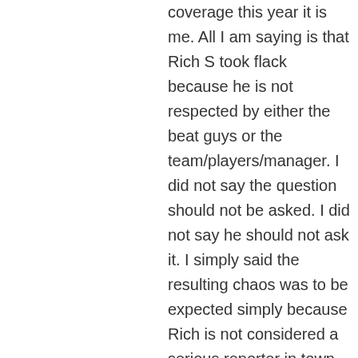coverage this year it is me. All I am saying is that Rich S took flack because he is not respected by either the beat guys or the team/players/manager. I did not say the question should not be asked. I did not say he should not ask it. I simply said the resulting chaos was to be expected simply because Rich is not considered a serious reporter in town.